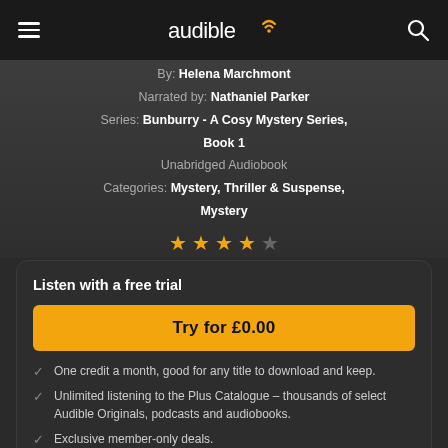audible
By: Helena Marchmont
Narrated by: Nathaniel Parker
Series: Bunburry - A Cosy Mystery Series, Book 1
Unabridged Audiobook
Categories: Mystery, Thriller & Suspense, Mystery
[Figure (other): 4 out of 5 star rating shown with orange filled stars and one empty star]
Listen with a free trial
Try for £0.00
One credit a month, good for any title to download and keep.
Unlimited listening to the Plus Catalogue - thousands of select Audible Originals, podcasts and audiobooks.
Exclusive member-only deals.
No commitment - cancel anytime.